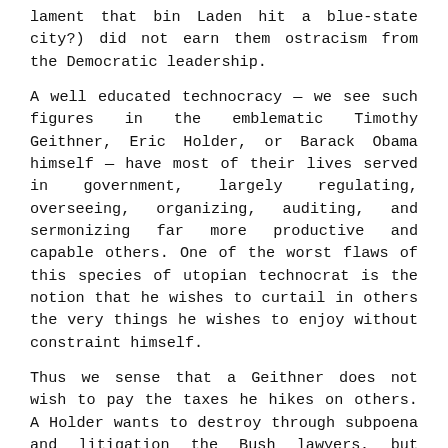lament that bin Laden hit a blue-state city?) did not earn them ostracism from the Democratic leadership.

A well educated technocracy — we see such figures in the emblematic Timothy Geithner, Eric Holder, or Barack Obama himself — have most of their lives served in government, largely regulating, overseeing, organizing, auditing, and sermonizing far more productive and capable others. One of the worst flaws of this species of utopian technocrat is the notion that he wishes to curtail in others the very things he wishes to enjoy without constraint himself.
Thus we sense that a Geithner does not wish to pay the taxes he hikes on others. A Holder wants to destroy through subpoena and litigation the Bush lawyers, but pleaded once for mercy for his own shenanigans involving the crooked Clinton pardons. And Obama lectures about the inequality of wealth and the burdens of racism while his wife's salary climbed as his political influence grew. Meanwhile his own rarified tastes translated into a shady transaction with Tony Rezco to help to score a stately home and expansive